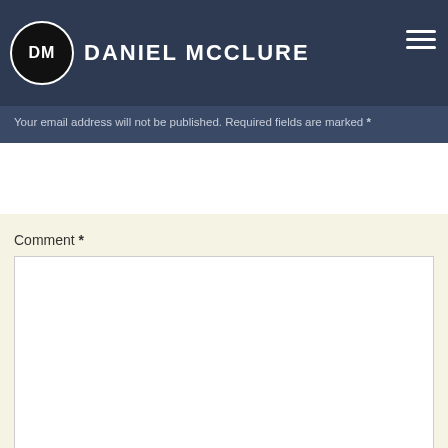DM DANIEL MCCLURE
Your email address will not be published. Required fields are marked *
Comment *